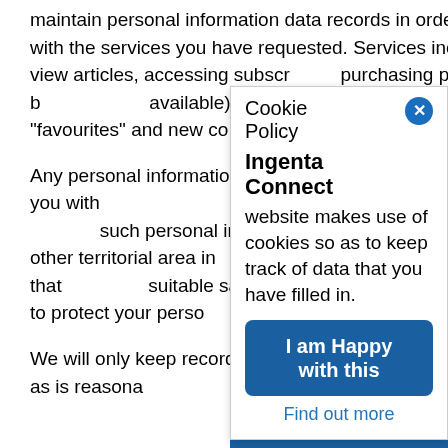maintain personal information data records in order to supply you with the services you have requested. Services include purchasing, view articles, accessing subscriptions, purchasing print-on-demand books (where available) or other content, and setting up feeds, "favourites" and new content alerts.
Any personal information you provide will be necessary to provide you with our services and be treated as confidential. Where we transfer such personal information to countries outside the EEA or other territorial area in order to provide such services, we ensure that there are suitable safeguards and technical measures in place to protect your personal data.
We will only keep records of your personal information for as long as is reasonably necessary for the purposes for which it
[Figure (screenshot): Cookie Policy popup overlay on the Ingenta Connect website. Contains a close button (blue circle with X), title 'Cookie Policy', bold heading 'Ingenta Connect', body text 'website makes use of cookies so as to keep track of data that you have filled in.', a blue 'I am Happy with this' button, and a 'Find out more' link.]
Cookie Policy